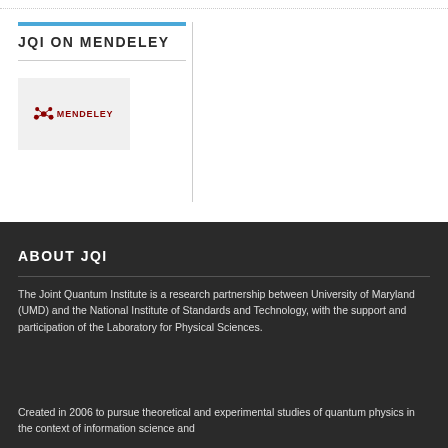JQI ON MENDELEY
[Figure (logo): Mendeley logo on light gray background — red molecule icon with text MENDELEY]
ABOUT JQI
The Joint Quantum Institute is a research partnership between University of Maryland (UMD) and the National Institute of Standards and Technology, with the support and participation of the Laboratory for Physical Sciences.
Created in 2006 to pursue theoretical and experimental studies of quantum physics in the context of information science and